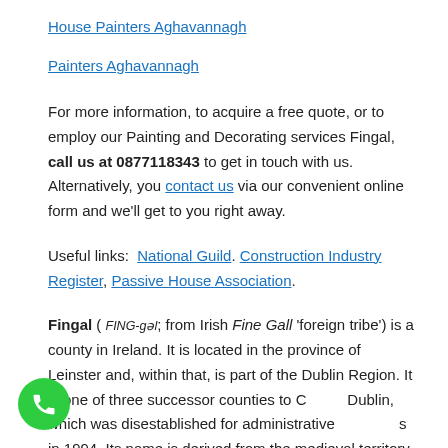House Painters Aghavannagh
Painters Aghavannagh
For more information, to acquire a free quote, or to employ our Painting and Decorating services Fingal, call us at 0877118343 to get in touch with us. Alternatively, you contact us via our convenient online form and we'll get to you right away.
Useful links:  National Guild. Construction Industry Register, Passive House Association.
Fingal ( FING-gəl; from Irish Fine Gall 'foreign tribe') is a county in Ireland. It is located in the province of Leinster and, within that, is part of the Dublin Region. It is one of three successor counties to County Dublin, which was disestablished for administrative purposes in 1994. Its name is derived from the medieval territory of Scandinavian foreigners (Irish: gaill) that settled in the area.
[Figure (other): Green circular phone call button in bottom-left corner]